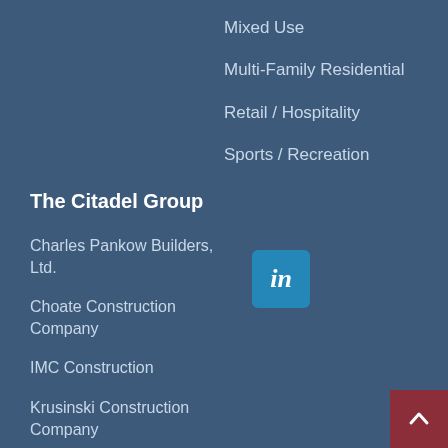Mixed Use
Multi-Family Residential
Retail / Hospitality
Sports / Recreation
The Citadel Group
[Figure (logo): LinkedIn logo — blue square with 'in' in white italic text]
Charles Pankow Builders, Ltd.
Choate Construction Company
IMC Construction
Krusinski Construction Company
Lease Crutcher Lewis